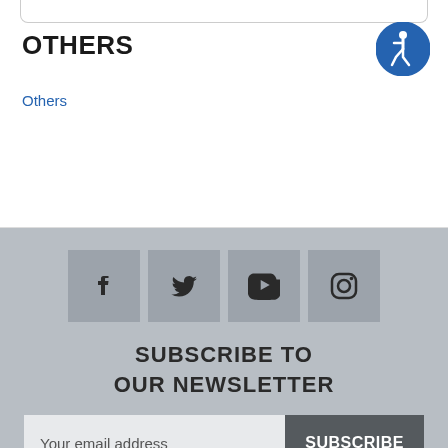OTHERS
[Figure (illustration): Accessibility icon — blue circle with white wheelchair user symbol]
Others
[Figure (infographic): Social media icons row: Facebook, Twitter, YouTube, Instagram]
SUBSCRIBE TO OUR NEWSLETTER
Your email address
SUBSCRIBE
INFORMATION ABOUT
Covid-19 Updates